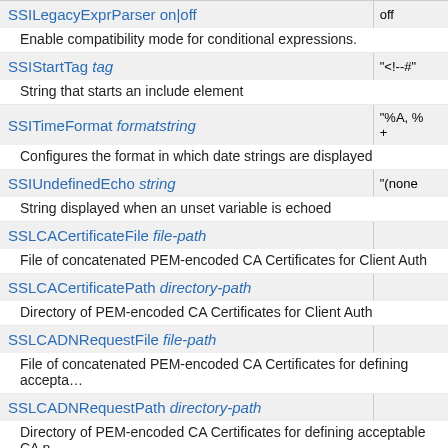| Directive | Default |
| --- | --- |
| SSILegacyExprParser on|off | off |
| Enable compatibility mode for conditional expressions. |  |
| SSIStartTag tag | "<!--#" |
| String that starts an include element |  |
| SSITimeFormat formatstring | "%A, %…+" |
| Configures the format in which date strings are displayed |  |
| SSIUndefinedEcho string | "(none" |
| String displayed when an unset variable is echoed |  |
| SSLCACertificateFile file-path |  |
| File of concatenated PEM-encoded CA Certificates for Client Auth |  |
| SSLCACertificatePath directory-path |  |
| Directory of PEM-encoded CA Certificates for Client Auth |  |
| SSLCADNRequestFile file-path |  |
| File of concatenated PEM-encoded CA Certificates for defining accepta… |  |
| SSLCADNRequestPath directory-path |  |
| Directory of PEM-encoded CA Certificates for defining acceptable CA n… |  |
| SSLCARevocationCheck chain|leaf|none | none |
| Enable CRL-based revocation checking |  |
| SSLCARevocationFile file-path |  |
| File of concatenated PEM-encoded CA CRLs for Client Auth |  |
| SSLCARevocationPath directory-path |  |
| Directory of PEM-encoded CA CRLs for Client Auth |  |